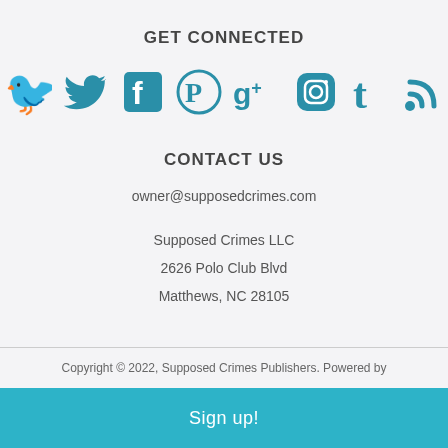GET CONNECTED
[Figure (illustration): Row of seven social media icons in teal/blue: Twitter bird, Facebook F, Pinterest P, Google+ g+, Instagram camera, Tumblr t, RSS feed]
CONTACT US
owner@supposedcrimes.com
Supposed Crimes LLC
2626 Polo Club Blvd
Matthews, NC 28105
Copyright © 2022, Supposed Crimes Publishers. Powered by
Sign up!